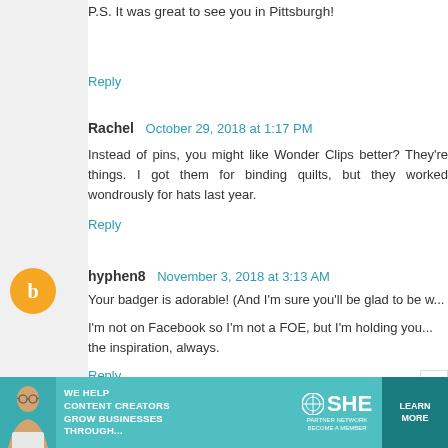Maureen
P.S. It was great to see you in Pittsburgh!
Reply
Rachel  October 29, 2018 at 1:17 PM
Instead of pins, you might like Wonder Clips better? They're things. I got them for binding quilts, but they worked wondrously for hats last year.
Reply
hyphen8  November 3, 2018 at 3:13 AM
Your badger is adorable! (And I'm sure you'll be glad to be w...
I'm not on Facebook so I'm not a FOE, but I'm holding you... the inspiration, always.
Reply
[Figure (infographic): SHE Partner Network advertisement banner with teal background, woman photo on left, text 'We help content creators grow businesses through...', SHE logo, and Learn More button]